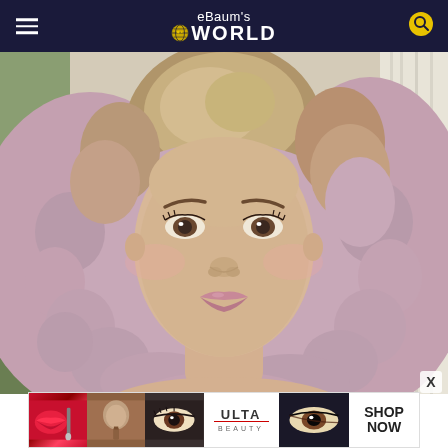eBaum's World
[Figure (photo): Young woman with voluminous curly pink/rose-gold hair, natural makeup, looking directly at camera, photographed in a softly lit indoor setting with plants and curtains in the background.]
[Figure (photo): ULTA Beauty advertisement banner with makeup imagery including lipstick brush, powder brush, eye makeup, ULTA logo, and eye shadow looks with a 'SHOP NOW' call to action.]